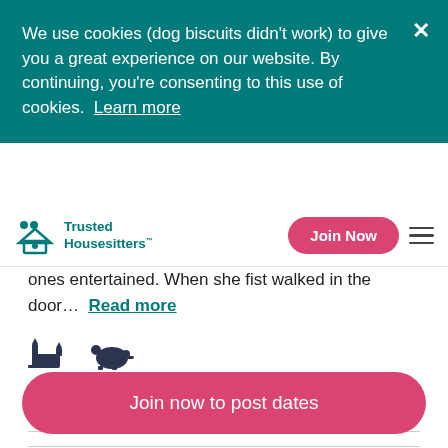We use cookies (dog biscuits didn't work) to give you a great experience on our website. By continuing, you're consenting to this use of cookies.  Learn more
Trusted Housesitters™
ones entertained. When she fist walked in the door…  Read more
[Figure (illustration): Small cat icon and small cat/mouse icon representing pets]
Orlando, FL, US · 04 May – 07 May 2018
Join now to post dates